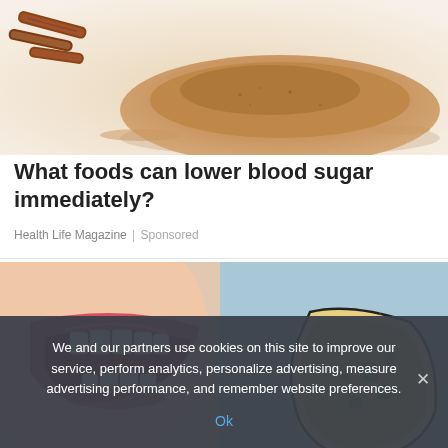[Figure (photo): Close-up photo of cinnamon powder pile with cinnamon sticks on a white surface]
What foods can lower blood sugar immediately?
Health Life Magazine | Sponsored
[Figure (illustration): Medical illustration showing an open mouth with teeth and a moldy or diseased cracker/tooth on a light blue background]
We and our partners use cookies on this site to improve our service, perform analytics, personalize advertising, measure advertising performance, and remember website preferences.
Ok